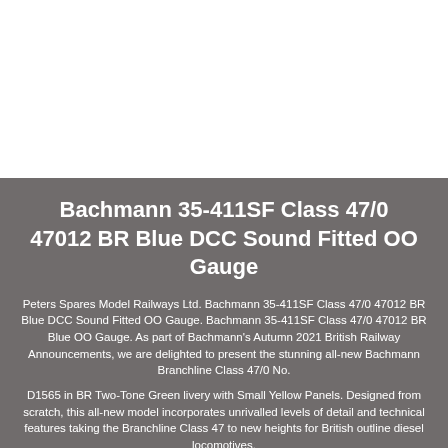Bachmann 35-411SF Class 47/0 47012 BR Blue DCC Sound Fitted OO Gauge
Peters Spares Model Railways Ltd. Bachmann 35-411SF Class 47/0 47012 BR Blue DCC Sound Fitted OO Gauge. Bachmann 35-411SF Class 47/0 47012 BR Blue OO Gauge. As part of Bachmann's Autumn 2021 British Railway Announcements, we are delighted to present the stunning all-new Bachmann Branchline Class 47/0 No.
D1565 in BR Two-Tone Green livery with Small Yellow Panels. Designed from scratch, this all-new model incorporates unrivalled levels of detail and technical features taking the Branchline Class 47 to new heights for British outline diesel locomotives.
With high fidelity mouldings, numerous separately fitted parts and countless tooling variations to capture the minutiae of the real locomotives throughout their lives - ensuring each model